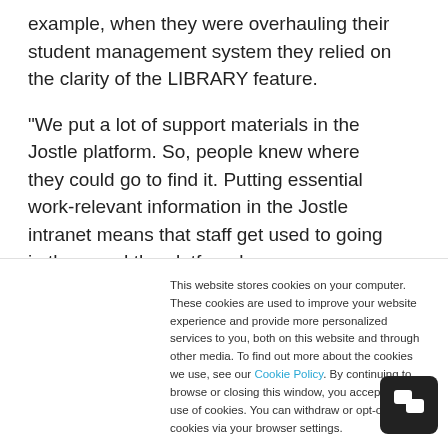example, when they were overhauling their student management system they relied on the clarity of the LIBRARY feature.
“We put a lot of support materials in the Jostle platform. So, people knew where they could go to find it. Putting essential work-relevant information in the Jostle intranet means that staff get used to going in there and the platform becomes a reliable way to
This website stores cookies on your computer. These cookies are used to improve your website experience and provide more personalized services to you, both on this website and through other media. To find out more about the cookies we use, see our Cookie Policy. By continuing to browse or closing this window, you accept the use of cookies. You can withdraw or opt-out of cookies via your browser settings.
Continue to browse